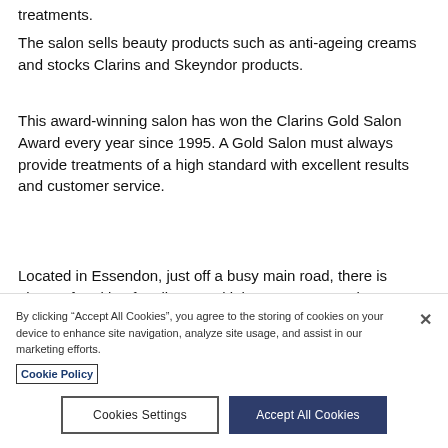treatments.
The salon sells beauty products such as anti-ageing creams and stocks Clarins and Skeyndor products.
This award-winning salon has won the Clarins Gold Salon Award every year since 1995. A Gold Salon must always provide treatments of a high standard with excellent results and customer service.
Located in Essendon, just off a busy main road, there is plenty of parking for clients and it has easy access by
By clicking “Accept All Cookies”, you agree to the storing of cookies on your device to enhance site navigation, analyze site usage, and assist in our marketing efforts.
Cookie Policy
Cookies Settings
Accept All Cookies